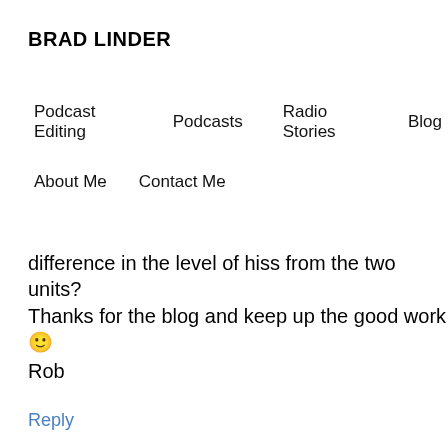BRAD LINDER
Podcast Editing   Podcasts   Radio Stories   Blog
About Me   Contact Me
difference in the level of hiss from the two units?
Thanks for the blog and keep up the good work 🙂
Rob
Reply